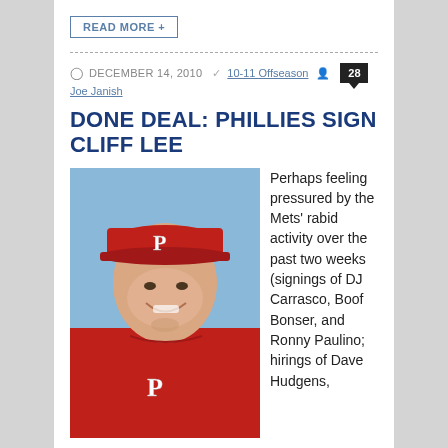READ MORE +
DECEMBER 14, 2010  10-11 Offseason  Joe Janish  28
DONE DEAL: PHILLIES SIGN CLIFF LEE
[Figure (photo): Cliff Lee smiling, wearing a red Philadelphia Phillies cap and jersey with the P logo]
Perhaps feeling pressured by the Mets' rabid activity over the past two weeks (signings of DJ Carrasco, Boof Bonser, and Ronny Paulino; hirings of Dave Hudgens,